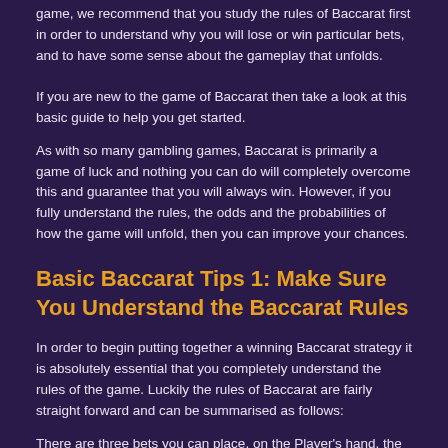game, we recommend that you study the rules of Baccarat first in order to understand why you will lose or win particular bets, and to have some sense about the gameplay that unfolds.
If you are new to the game of Baccarat then take a look at this basic guide to help you get started.
As with so many gambling games, Baccarat is primarily a game of luck and nothing you can do will completely overcome this and guarantee that you will always win. However, if you fully understand the rules, the odds and the probabilities of how the game will unfold, then you can improve your chances.
Basic Baccarat Tips 1: Make Sure You Understand the Baccarat Rules
In order to begin putting together a winning Baccarat strategy it is absolutely essential that you completely understand the rules of the game. Luckily the rules of Baccarat are fairly straight forward and can be summarised as follows:
There are three bets you can place, on the Player's hand, the Banker's Hand or a Tie. If you place a bet that matches the outcome of a hand